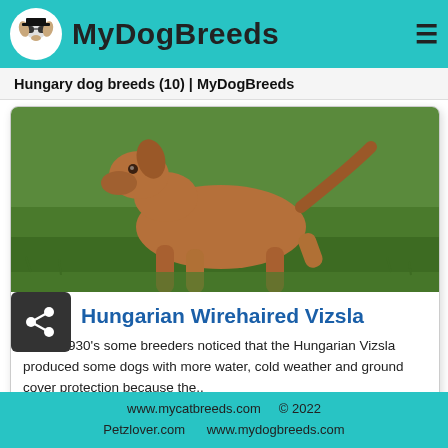MyDogBreeds
Hungary dog breeds (10) | MyDogBreeds
[Figure (photo): A golden-brown Hungarian Wirehaired Vizsla dog running on green grass, viewed from the side.]
Hungarian Wirehaired Vizsla
In the 1930's some breeders noticed that the Hungarian Vizsla produced some dogs with more water, cold weather and ground cover protection because the..
Hound dog
Medium dog
Hungary
www.mycatbreeds.com   © 2022
Petzlover.com   www.mydogbreeds.com